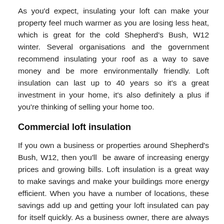As you'd expect, insulating your loft can make your property feel much warmer as you are losing less heat, which is great for the cold Shepherd's Bush, W12 winter. Several organisations and the government recommend insulating your roof as a way to save money and be more environmentally friendly. Loft insulation can last up to 40 years so it's a great investment in your home, it's also definitely a plus if you're thinking of selling your home too.
Commercial loft insulation
If you own a business or properties around Shepherd's Bush, W12, then you'll be aware of increasing energy prices and growing bills. Loft insulation is a great way to make savings and make your buildings more energy efficient. When you have a number of locations, these savings add up and getting your loft insulated can pay for itself quickly. As a business owner, there are always practical jobs that need doing, such as loft insulation, and having a maintenance